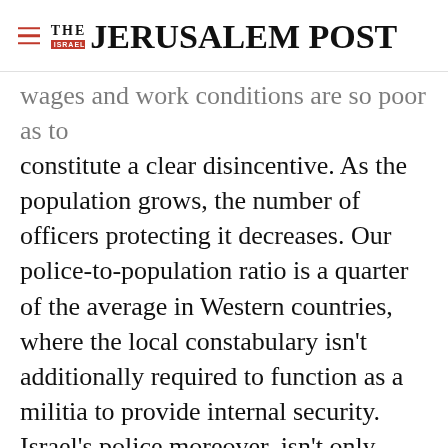THE JERUSALEM POST
wages and work conditions are so poor as to constitute a clear disincentive. As the population grows, the number of officers protecting it decreases. Our police-to-population ratio is a quarter of the average in Western countries, where the local constabulary isn't additionally required to function as a militia to provide internal security. Israel's police moreover, isn't only understaffed, but also underequipped. Regrettably, many of the social ills that effect
Advertisement